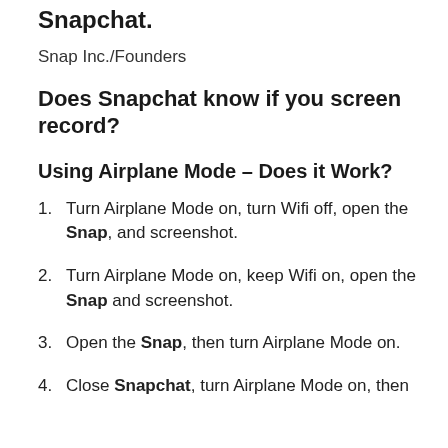Snapchat.
Snap Inc./Founders
Does Snapchat know if you screen record?
Using Airplane Mode – Does it Work?
Turn Airplane Mode on, turn Wifi off, open the Snap, and screenshot.
Turn Airplane Mode on, keep Wifi on, open the Snap and screenshot.
Open the Snap, then turn Airplane Mode on.
Close Snapchat, turn Airplane Mode on, then